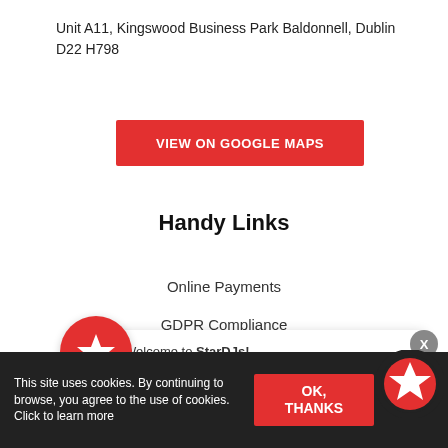Unit A11, Kingswood Business Park Baldonnell, Dublin D22 H798
[Figure (other): Red button labeled VIEW ON GOOGLE MAPS]
Handy Links
Online Payments
GDPR Compliance
Cookie Policy
[Figure (other): Chat popup with red star icon, welcome message 'Welcome to StarDJs!' and 'Need Help?' text, close X button]
This site uses cookies. By continuing to browse, you agree to the use of cookies. Click to learn more
[Figure (other): OK, THANKS button and floating red star button]